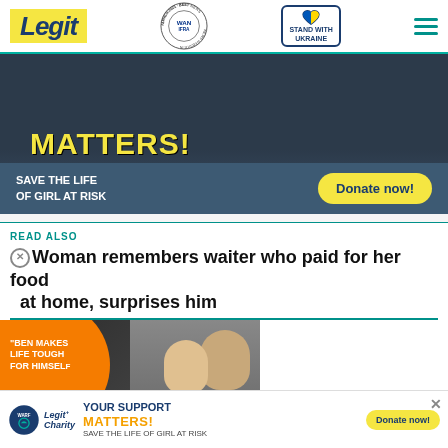Legit | WAN-IFRA 2021 Best News Website in Africa | Stand with Ukraine
[Figure (infographic): Advertisement banner: 'MATTERS! SAVE THE LIFE OF GIRL AT RISK' with a Donate now! button on dark blue/grey background]
READ ALSO
Woman remembers waiter who paid for her food at home, surprises him
[Figure (screenshot): Video overlay showing a couple (man and woman), with orange circle text 'BEN MAKES LIFE TOUGH FOR HIMSELF', play button, and red scroll-down arrow button]
ve graduated college while the
[Figure (infographic): Bottom advertisement: YOUR SUPPORT MATTERS! SAVE THE LIFE OF GIRL AT RISK with Legit Charity and WARF logos and Donate now! button]